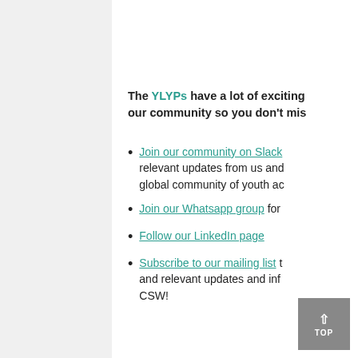The YLYPs have a lot of exciting our community so you don't mis
Join our community on Slack relevant updates from us and global community of youth ac
Join our Whatsapp group for
Follow our LinkedIn page
Subscribe to our mailing list t and relevant updates and inf CSW!